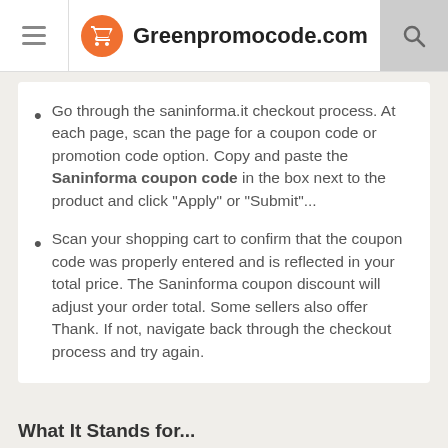Greenpromocode.com
Go through the saninforma.it checkout process. At each page, scan the page for a coupon code or promotion code option. Copy and paste the Saninforma coupon code in the box next to the product and click "Apply" or "Submit"...
Scan your shopping cart to confirm that the coupon code was properly entered and is reflected in your total price. The Saninforma coupon discount will adjust your order total. Some sellers also offer Thank. If not, navigate back through the checkout process and try again.
What It Stands for...